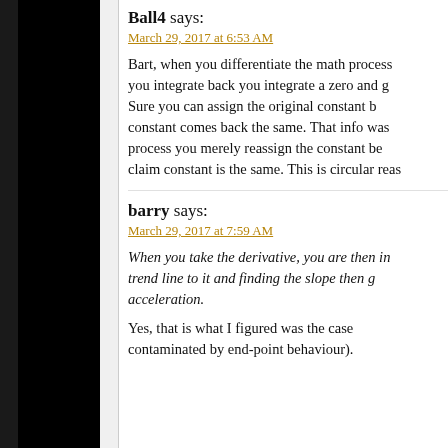Ball4 says:
March 29, 2017 at 6:53 AM
Bart, when you differentiate the math process you integrate back you integrate a zero and g Sure you can assign the original constant b constant comes back the same. That info was process you merely reassign the constant be claim constant is the same. This is circular reas
barry says:
March 29, 2017 at 7:59 AM
When you take the derivative, you are then in trend line to it and finding the slope then g acceleration.
Yes, that is what I figured was the case contaminated by end-point behaviour).